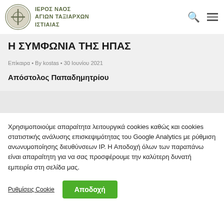ΙΕΡΟΣ ΝΑΟΣ ΑΓΙΩΝ ΤΑΞΙΑΡΧΩΝ ΙΣΤΙΑΙΑΣ
Η ΣΥΜΦΩΝΙΑ ΤΗΣ ΗΠΑΣ
Επίκαιρα • By kostas • 30 Ιουνίου 2021
Απόστολος Παπαδημητρίου
Χρησιμοποιούμε απαραίτητα λειτουργικά cookies καθώς και cookies στατιστικής ανάλυσης επισκεψιμότητας του Google Analytics με ρύθμιση ανωνυμοποίησης διευθύνσεων IP. Η Αποδοχή όλων των παραπάνω είναι απαραίτητη για να σας προσφέρουμε την καλύτερη δυνατή εμπειρία στη σελίδα μας.
Ρυθμίσεις Cookie
Αποδοχή